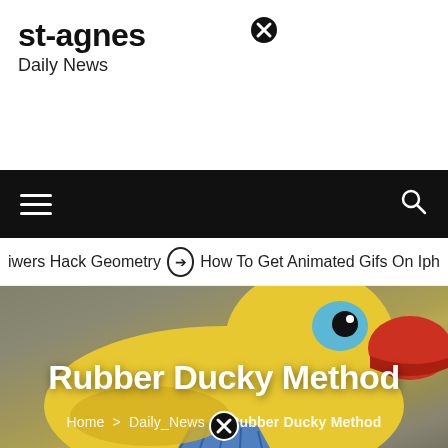st-agnes
Daily News
[Figure (screenshot): Navigation bar with hamburger menu on left and search icon on right, black background]
iwers Hack Geometry  ➔  How To Get Animated Gifs On Iph
[Figure (photo): Yellow rubber duck toy with red beak and blue tie/bow, close-up photo on grey background]
Rubber Ducky Method
Home > Daily_News > Rubber Ducky Method